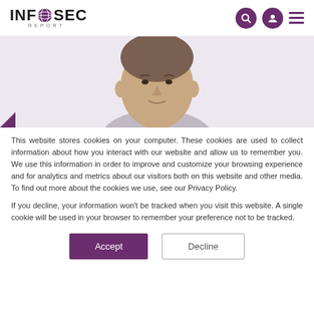INFOSEC REPORT
[Figure (photo): Head shot of a middle-aged man against a light purple/lavender background, cropped to show face and upper shoulders, centered in the banner area.]
This website stores cookies on your computer. These cookies are used to collect information about how you interact with our website and allow us to remember you. We use this information in order to improve and customize your browsing experience and for analytics and metrics about our visitors both on this website and other media. To find out more about the cookies we use, see our Privacy Policy.
If you decline, your information won't be tracked when you visit this website. A single cookie will be used in your browser to remember your preference not to be tracked.
Accept   Decline